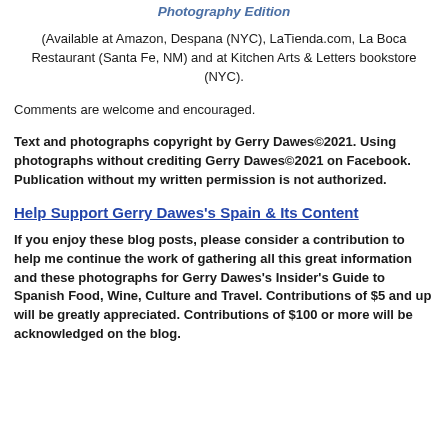Photography Edition
(Available at Amazon, Despana (NYC), LaTienda.com, La Boca Restaurant (Santa Fe, NM) and at Kitchen Arts & Letters bookstore (NYC).
Comments are welcome and encouraged.
Text and photographs copyright by Gerry Dawes©2021. Using photographs without crediting Gerry Dawes©2021 on Facebook.  Publication without my written permission is not authorized.
Help Support Gerry Dawes's Spain & Its Content
If you enjoy these blog posts, please consider a contribution to help me continue the work of gathering all this great information and these photographs for Gerry Dawes's Insider's Guide to Spanish Food, Wine, Culture and Travel. Contributions of $5 and up will be greatly appreciated. Contributions of $100 or more will be acknowledged on the blog.